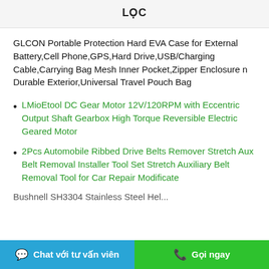LỌC
GLCON Portable Protection Hard EVA Case for External Battery,Cell Phone,GPS,Hard Drive,USB/Charging Cable,Carrying Bag Mesh Inner Pocket,Zipper Enclosure n Durable Exterior,Universal Travel Pouch Bag
LMioEtool DC Gear Motor 12V/120RPM with Eccentric Output Shaft Gearbox High Torque Reversible Electric Geared Motor
2Pcs Automobile Ribbed Drive Belts Remover Stretch Aux Belt Removal Installer Tool Set Stretch Auxiliary Belt Removal Tool for Car Repair Modificate